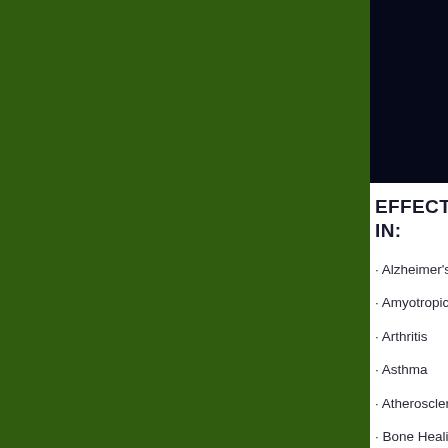[Figure (illustration): Large dark green rectangular panel covering the left portion of the page]
[Figure (illustration): Dark navy/black rectangle in the upper right portion of the page]
EFFECTS OF IN:
· Alzheimer's Disease
· Amyotrophic Lateral
· Arthritis
· Asthma
· Atherosclerosis
· Bone Healing
· Bronchitis
· Burns